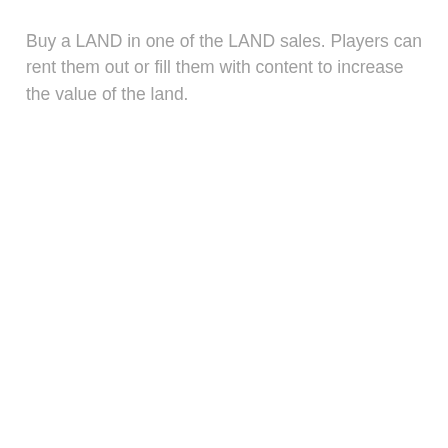Buy a LAND in one of the LAND sales. Players can rent them out or fill them with content to increase the value of the land.